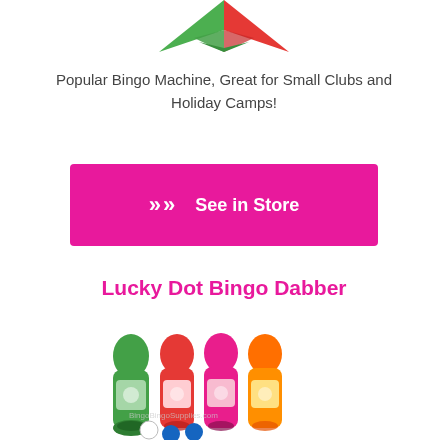[Figure (illustration): Top portion of a bingo machine icon — red and green diamond/kite shape partially visible at top of page]
Popular Bingo Machine, Great for Small Clubs and Holiday Camps!
[Figure (other): Pink 'See in Store' button with double chevron arrows on the left]
Lucky Dot Bingo Dabber
[Figure (photo): Four colorful bingo dabber bottles (green, red/orange, pink, orange) with small balls in front, watermarked BingoBingSupplies.com]